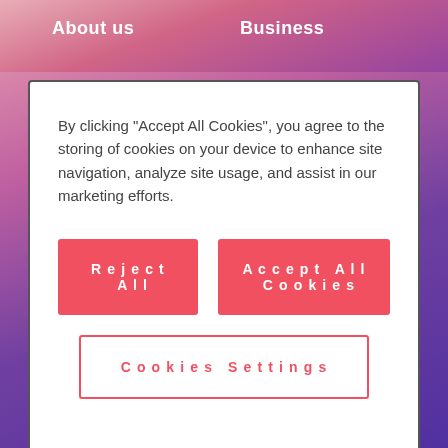About us   Business
By clicking “Accept All Cookies”, you agree to the storing of cookies on your device to enhance site navigation, analyze site usage, and assist in our marketing efforts.
Reject All
Accept All Cookies
Cookies Settings
[Figure (infographic): Social media icons row: LinkedIn, Facebook, Twitter, YouTube, Instagram, Xing]
Subscribe to our Newsletter →